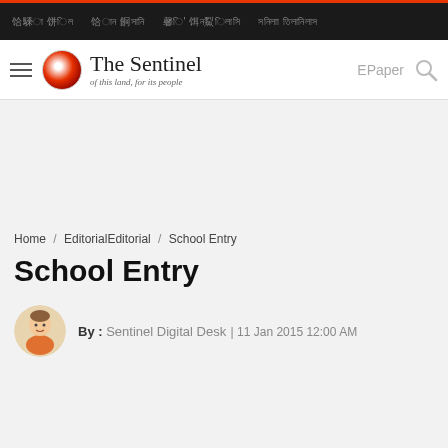The Sentinel — of this land, for its people
Home / EditorialEditorial / School Entry
School Entry
By : Sentinel Digital Desk | 11 Jan 2015 12:00 AM